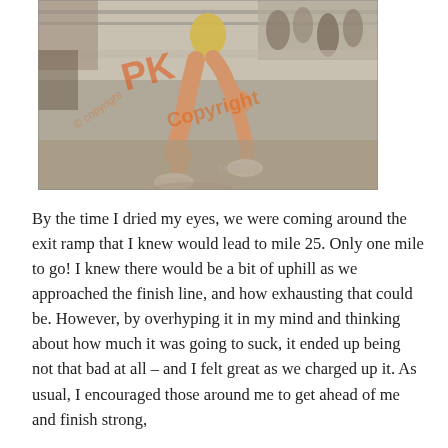[Figure (photo): A runner mid-stride during a race, showing legs and running shoes, with crowd barriers and spectators in the background. A watermark/copyright overlay in orange text is visible on the image.]
By the time I dried my eyes, we were coming around the exit ramp that I knew would lead to mile 25. Only one mile to go! I knew there would be a bit of uphill as we approached the finish line, and how exhausting that could be. However, by overhyping it in my mind and thinking about how much it was going to suck, it ended up being not that bad at all – and I felt great as we charged up it. As usual, I encouraged those around me to get ahead of me and finish strong,